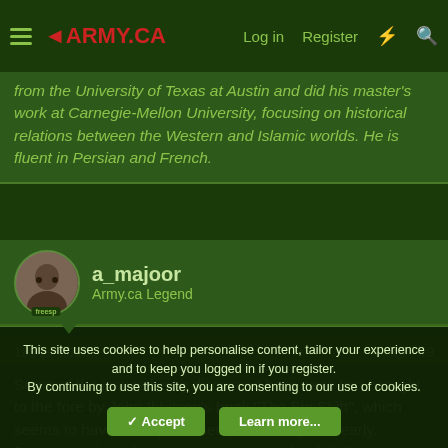ARMY.CA – Log in  Register
from the University of Texas at Austin and did his master's work at Carnegie-Mellon University, focusing on historical relations between the Western and Islamic worlds. He is fluent in Persian and French.
a_majoor
Army.ca Legend
18 Apr 2019  #9
Some of the issues being discussed here were first brought to the fore by John Ibbitson's book "The Big Shift", which seems to have been published just a few years early. Demographic and economic power is indeed shifting Westward, which might make
This site uses cookies to help personalise content, tailor your experience and to keep you logged in if you register.
By continuing to use this site, you are consenting to our use of cookies.
Accept  Learn more...